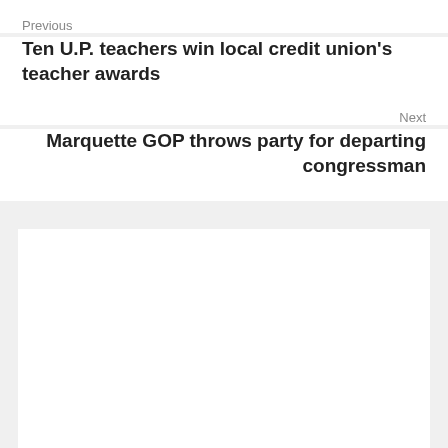Previous
Ten U.P. teachers win local credit union's teacher awards
Next
Marquette GOP throws party for departing congressman
[Figure (other): White content placeholder box]